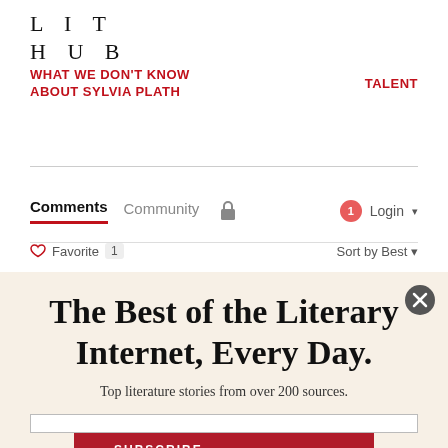LIT HUB
WHAT WE DON'T KNOW ABOUT SYLVIA PLATH
TALENT
Comments  Community  Login
Favorite 1  Sort by Best
The Best of the Literary Internet, Every Day.
Top literature stories from over 200 sources.
SUBSCRIBE